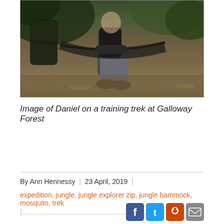[Figure (photo): Photo of Daniel sitting in a hammock during a training trek at Galloway Forest, with a backpack visible on the left and forest floor with fallen leaves in the background]
Image of Daniel on a training trek at Galloway Forest
By Ann Hennessy | 23 April, 2019 |
expedition, jungle, jungle explorer zip, jungle hammock, mosquito, trek
[Figure (infographic): Social media sharing icons: Facebook, Twitter, Reddit, Email]